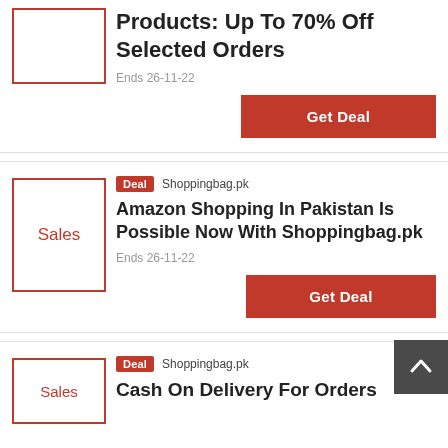Products: Up To 70% Off Selected Orders
Ends 26-11-22
Get Deal
[Figure (other): Deal card image box with red border (empty/blank)]
Deal  Shoppingbag.pk
Amazon Shopping In Pakistan Is Possible Now With Shoppingbag.pk
Ends 26-11-22
Get Deal
[Figure (other): Deal card image box with red border and 'Sales' text]
Deal  Shoppingbag.pk
Cash On Delivery For Orders